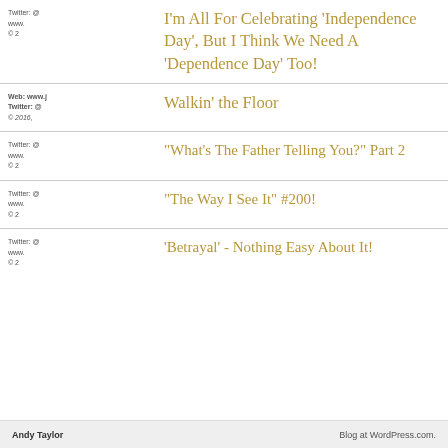I'm All For Celebrating 'Independence Day', But I Think We Need A 'Dependence Day' Too!
Walkin' the Floor
"What's The Father Telling You?" Part 2
"The Way I See It" #200!
'Betrayal' - Nothing Easy About It!
Andy Taylor   Blog at WordPress.com.